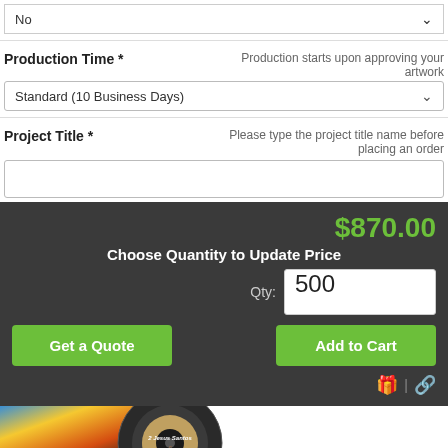No
Production Time *
Production starts upon approving your artwork
Standard (10 Business Days)
Project Title *
Please type the project title name before placing an order
$870.00
Choose Quantity to Update Price
Qty:  500
Get a Quote
Add to Cart
[Figure (photo): Album/CD product image at bottom of page]